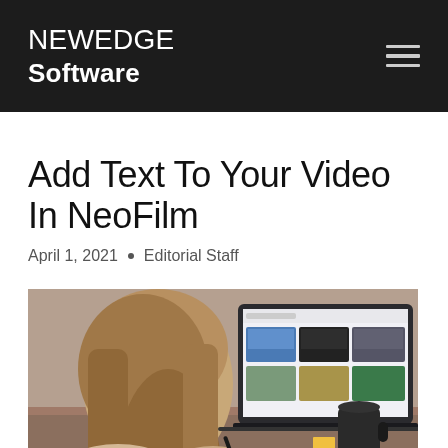NEWEDGE Software
Add Text To Your Video In NeoFilm
April 1, 2021 • Editorial Staff
[Figure (photo): Person with long hair sitting at a desk, viewed from behind, looking at a laptop screen showing a video editing or media gallery interface. A dark coffee cup is visible on the desk.]